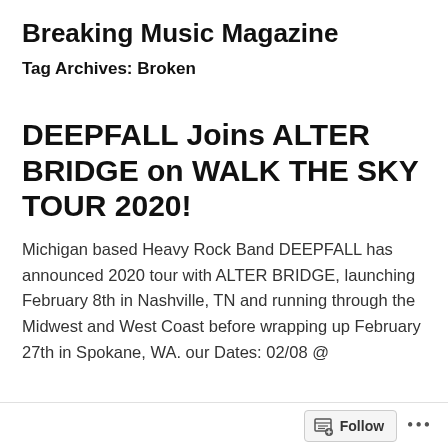Breaking Music Magazine
Tag Archives: Broken
DEEPFALL Joins ALTER BRIDGE on WALK THE SKY TOUR 2020!
Michigan based Heavy Rock Band DEEPFALL has announced 2020 tour with ALTER BRIDGE, launching February 8th in Nashville, TN and running through the Midwest and West Coast before wrapping up February 27th in Spokane, WA. our Dates: 02/08 @
Follow ...